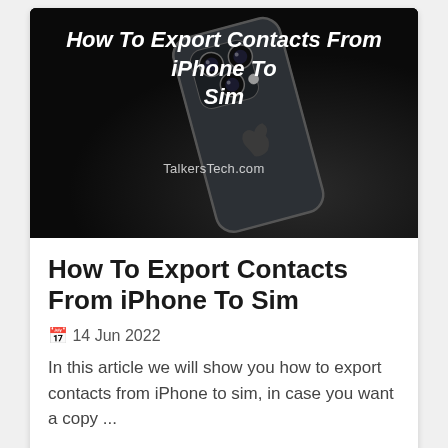[Figure (photo): Article card image showing the back of a dark iPhone with triple camera, on a black background, with text overlay 'How To Export Contacts From iPhone To Sim' and watermark 'TalkersTech.com']
How To Export Contacts From iPhone To Sim
🗓 14 Jun 2022
In this article we will show you how to export contacts from iPhone to sim, in case you want a copy ...
🏷 iPhone